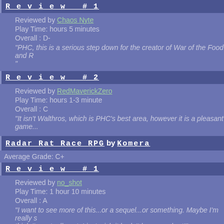Review #1
Reviewed by Chaos Nyte
Play Time: hours 5 minutes
Overall : D-
"PHC, this is a serious step down for the creator of War of the Food and R..."
Review #2
Reviewed by RedMaverickZero
Play Time: hours 1-3 minute
Overall : C
"It isn't Walthros, which is PHC's best area, however it is a pleasant game...
Radar Rat Race RPG by Komera
Average Grade: C+
Review #1
Reviewed by no_shot
Play Time: 1 hour 10 minutes
Overall : A
"I want to see more of this...or a sequel...or something. Maybe I'm really s... think I'm actually not. I just wish it hadn't been so short!"
Review #2
Reviewed by Chaos Nyte
Play Time: 0 hours 14 minutes
Overall : D-